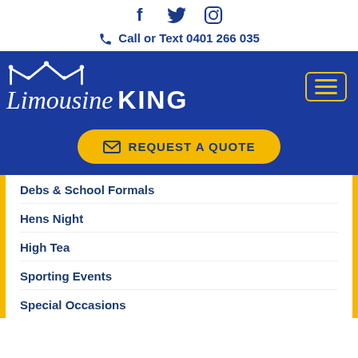[Figure (other): Social media icons: Facebook (f), Twitter (bird), Instagram (camera)]
📞 Call or Text 0401 266 035
[Figure (logo): Limousine KING logo with crown icon on blue background, and hamburger menu button]
[Figure (other): REQUEST A QUOTE button (yellow rounded rectangle with envelope icon)]
Debs & School Formals
Hens Night
High Tea
Sporting Events
Special Occasions